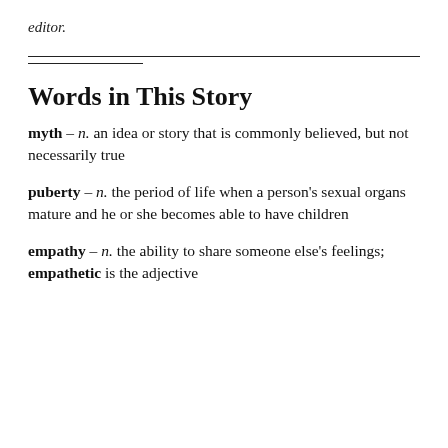editor.
Words in This Story
myth – n. an idea or story that is commonly believed, but not necessarily true
puberty – n. the period of life when a person's sexual organs mature and he or she becomes able to have children
empathy – n. the ability to share someone else's feelings; empathetic is the adjective